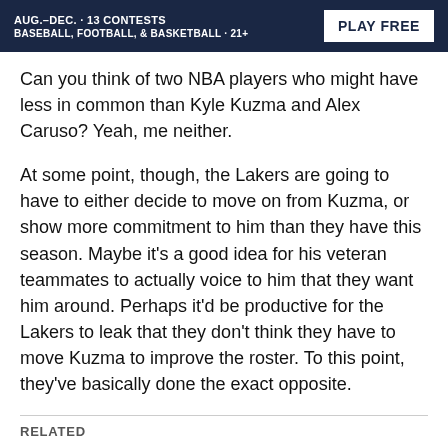[Figure (other): Advertisement banner with dark navy background. Text reads: AUG.–DEC. · 13 CONTESTS / BASEBALL, FOOTBALL, & BASKETBALL · 21+ with a white 'PLAY FREE' button on the right.]
Can you think of two NBA players who might have less in common than Kyle Kuzma and Alex Caruso? Yeah, me neither.
At some point, though, the Lakers are going to have to either decide to move on from Kuzma, or show more commitment to him than they have this season. Maybe it's a good idea for his veteran teammates to actually voice to him that they want him around. Perhaps it'd be productive for the Lakers to leak that they don't think they have to move Kuzma to improve the roster. To this point, they've basically done the exact opposite.
RELATED